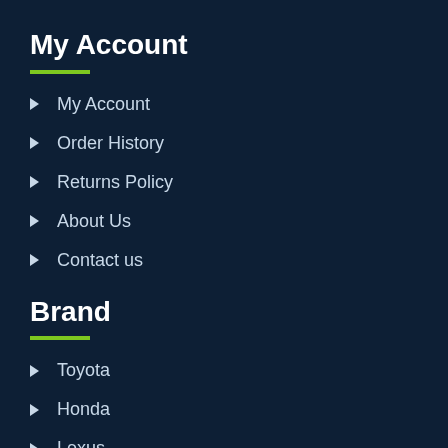My Account
My Account
Order History
Returns Policy
About Us
Contact us
Brand
Toyota
Honda
Lexus